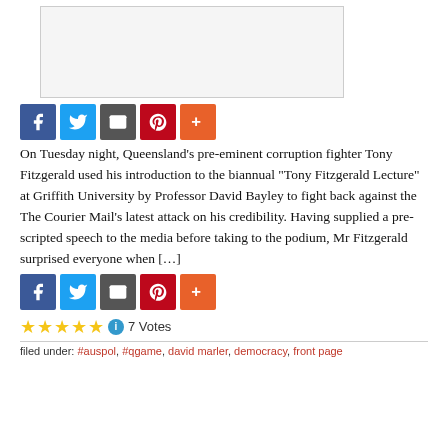[Figure (other): Gray placeholder image box]
[Figure (infographic): Social share buttons: Facebook (blue), Twitter (light blue), Email (dark gray), Pinterest (red), More (orange)]
On Tuesday night, Queensland's pre-eminent corruption fighter Tony Fitzgerald used his introduction to the biannual “Tony Fitzgerald Lecture” at Griffith University by Professor David Bayley to fight back against the The Courier Mail’s latest attack on his credibility. Having supplied a pre-scripted speech to the media before taking to the podium, Mr Fitzgerald surprised everyone when […]
[Figure (infographic): Social share buttons: Facebook (blue), Twitter (light blue), Email (dark gray), Pinterest (red), More (orange)]
★★★★★ 7 Votes
filed under: #auspol, #qgame, david marler, democracy, front page